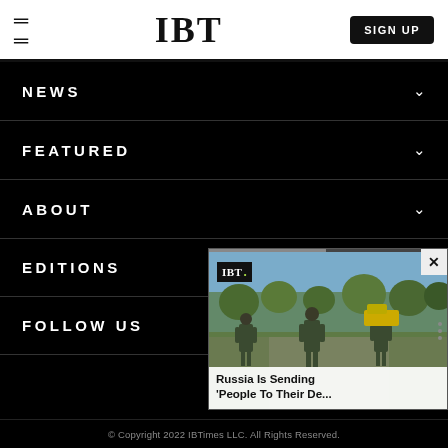IBT | SIGN UP
NEWS
FEATURED
ABOUT
EDITIONS
FOLLOW US
[Figure (screenshot): Video overlay widget showing IBT logo, a progress bar, soldiers walking photo background, and caption: Russia Is Sending 'People To Their De...' with a close button]
© Copyright 2022 IBTimes LLC. All Rights Reserved.